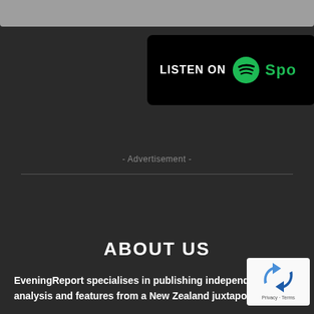[Figure (logo): Spotify 'Listen On' badge — black rounded rectangle with 'LISTEN ON' text, green Spotify circle logo, and green 'Spo...' (Spotify) text]
- Advertisement -
ABOUT US
EveningReport specialises in publishing independent analysis and features from a New Zealand juxtaposition, including interviews, commentary and investigations.